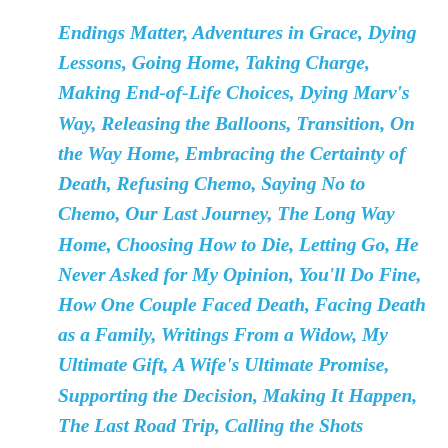Endings Matter, Adventures in Grace, Dying Lessons, Going Home, Taking Charge, Making End-of-Life Choices, Dying Marv's Way, Releasing the Balloons, Transition, On the Way Home, Embracing the Certainty of Death, Refusing Chemo, Saying No to Chemo, Our Last Journey, The Long Way Home, Choosing How to Die, Letting Go, He Never Asked for My Opinion, You'll Do Fine, How One Couple Faced Death, Facing Death as a Family, Writings From a Widow, My Ultimate Gift, A Wife's Ultimate Promise, Supporting the Decision, Making It Happen, The Last Road Trip, Calling the Shots